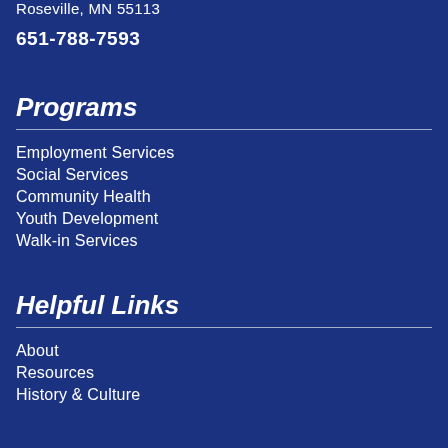Roseville, MN 55113
651-788-7593
Programs
Employment Services
Social Services
Community Health
Youth Development
Walk-in Services
Helpful Links
About
Resources
History & Culture